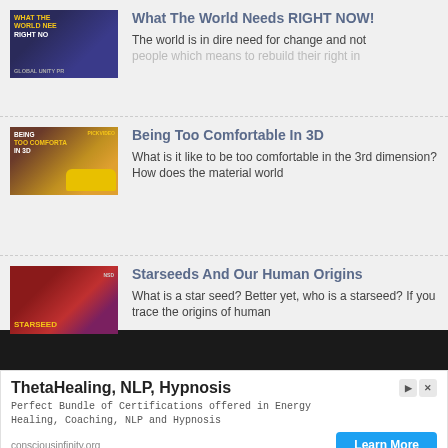[Figure (screenshot): Thumbnail for 'What The World Needs RIGHT NOW!' video showing a person with text overlay on dark blue background]
What The World Needs RIGHT NOW!
The world is in dire need for change and not people which means to rebuild their right in
[Figure (screenshot): Thumbnail for 'Being Too Comfortable In 3D' video showing a person with a yellow car on a colorful background]
Being Too Comfortable In 3D
What is it like to be too comfortable in the 3rd dimension? How does the material world
[Figure (screenshot): Thumbnail for 'Starseeds And Our Human Origins' video showing a person on a red background with STARSEED text]
Starseeds And Our Human Origins
What is a star seed?  Better yet, who is a starseed?  If you trace the origins of human
ThetaHealing, NLP, Hypnosis
Perfect Bundle of Certifications offered in Energy Healing, Coaching, NLP and Hypnosis
consciousinfinity.org
Learn More